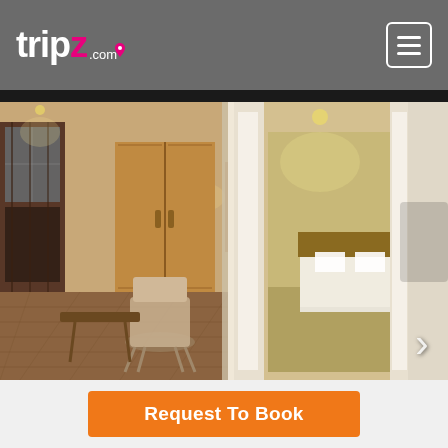[Figure (logo): Tripz.com logo in white on grey header background, with pink 'z' letter and a location pin icon above the 'i']
[Figure (photo): Hotel room interior photo carousel showing two views: left panel shows a living area with wardrobe, window with dark curtains, chair and table on wooden floor; right panel shows a bedroom seen through open doorway with white trim doors, and another door on the right side]
Request To Book